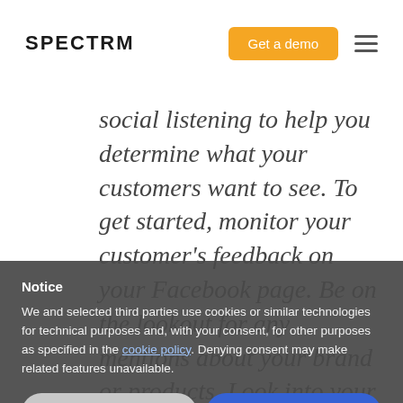SPECTRM | Get a demo
social listening to help you determine what your customers want to see. To get started, monitor your customer's feedback on your Facebook page. Be on the lookout for any mentions about your brand or products. Look into your competitors as well, to determine what they may be doing better than you.
Notice
We and selected third parties use cookies or similar technologies for technical purposes and, with your consent, for other purposes as specified in the cookie policy. Denying consent may make related features unavailable.
Reject
Accept
Learn more and customize